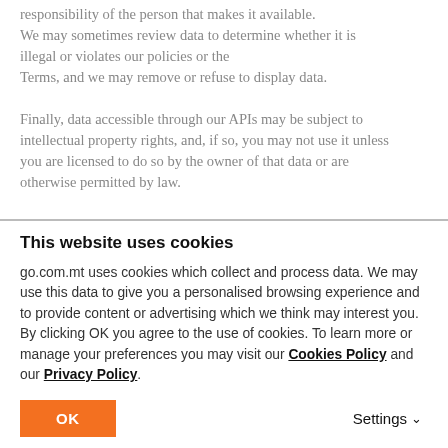responsibility of the person that makes it available. We may sometimes review data to determine whether it is illegal or violates our policies or the Terms, and we may remove or refuse to display data.
Finally, data accessible through our APIs may be subject to intellectual property rights, and, if so, you may not use it unless you are licensed to do so by the owner of that data or are otherwise permitted by law.
Your access to the data provided by the API may be restricted,
This website uses cookies
go.com.mt uses cookies which collect and process data. We may use this data to give you a personalised browsing experience and to provide content or advertising which we think may interest you. By clicking OK you agree to the use of cookies. To learn more or manage your preferences you may visit our Cookies Policy and our Privacy Policy.